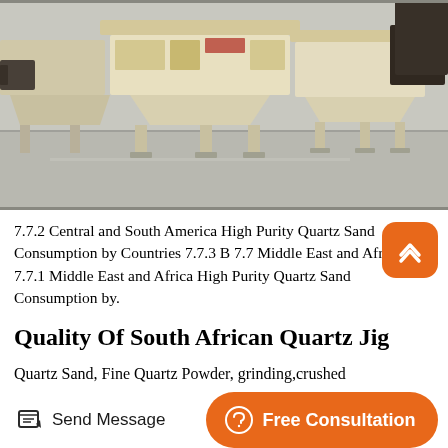[Figure (photo): Industrial sand crusher/processing machines in a factory setting. Cream/beige colored heavy machinery with multiple units on a concrete floor.]
7.7.2 Central and South America High Purity Quartz Sand Consumption by Countries 7.7.3 B 7.7 Middle East and Africa 7.7.1 Middle East and Africa High Purity Quartz Sand Consumption by.
Quality Of South African Quartz Jig
Quartz Sand, Fine Quartz Powder, grinding,crushed
[Figure (infographic): Footer bar with Send Message button (left) and Free Consultation button in orange (right). Send Message has a pencil/edit icon. Free Consultation has a headphone/support icon.]